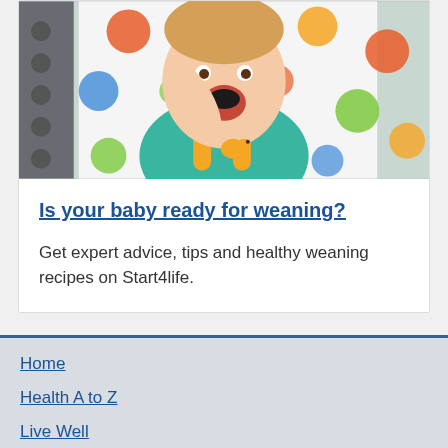[Figure (photo): Baby in a high chair with colorful polka-dot cover, wearing a teal shirt with a bird graphic and orange bib straps, putting food in mouth]
Is your baby ready for weaning?
Get expert advice, tips and healthy weaning recipes on Start4life.
Home
Health A to Z
Live Well